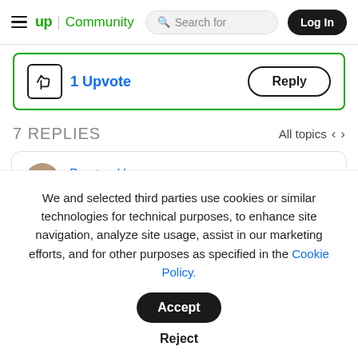up Community | Search for | Log In
1 Upvote  Reply
7 REPLIES
All topics < >
Preston H
We and selected third parties use cookies or similar technologies for technical purposes, to enhance site navigation, analyze site usage, assist in our marketing efforts, and for other purposes as specified in the Cookie Policy.
Accept
Reject